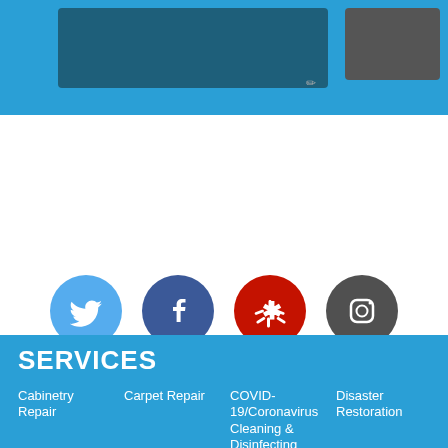[Figure (screenshot): Blue header section with dark blue input box and gray button, pencil edit icon]
[Figure (infographic): Social media icons row: Twitter (light blue circle), Facebook (dark blue circle), Yelp (red circle), Instagram (gray circle)]
SERVICES
Cabinetry Repair
Carpet Repair
COVID-19/Coronavirus Cleaning & Disinfecting
Disaster Restoration
Drywall and Painting
Fire and Smoke Damage
Flooring Installation
Mold Damage